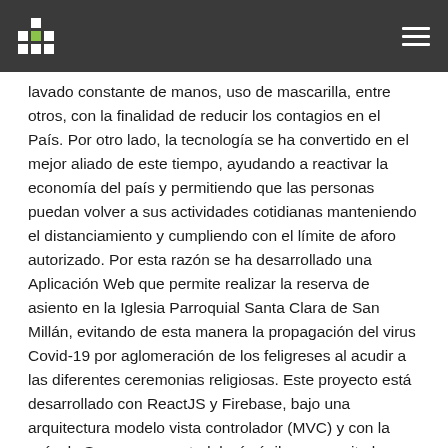[Navigation bar with logo and hamburger menu]
lavado constante de manos, uso de mascarilla, entre otros, con la finalidad de reducir los contagios en el País. Por otro lado, la tecnología se ha convertido en el mejor aliado de este tiempo, ayudando a reactivar la economía del país y permitiendo que las personas puedan volver a sus actividades cotidianas manteniendo el distanciamiento y cumpliendo con el límite de aforo autorizado. Por esta razón se ha desarrollado una Aplicación Web que permite realizar la reserva de asiento en la Iglesia Parroquial Santa Clara de San Millán, evitando de esta manera la propagación del virus Covid-19 por aglomeración de los feligreses al acudir a las diferentes ceremonias religiosas. Este proyecto está desarrollado con ReactJS y Firebase, bajo una arquitectura modelo vista controlador (MVC) y con la guía de Scrum, una metodología ágil que permite la interacción directa con el usuario final, facilitando la